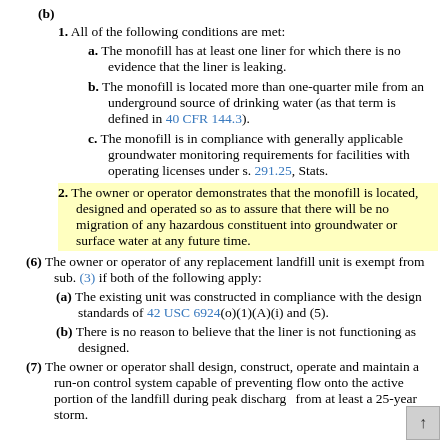(b)
1. All of the following conditions are met:
a. The monofill has at least one liner for which there is no evidence that the liner is leaking.
b. The monofill is located more than one-quarter mile from an underground source of drinking water (as that term is defined in 40 CFR 144.3).
c. The monofill is in compliance with generally applicable groundwater monitoring requirements for facilities with operating licenses under s. 291.25, Stats.
2. The owner or operator demonstrates that the monofill is located, designed and operated so as to assure that there will be no migration of any hazardous constituent into groundwater or surface water at any future time.
(6) The owner or operator of any replacement landfill unit is exempt from sub. (3) if both of the following apply:
(a) The existing unit was constructed in compliance with the design standards of 42 USC 6924(o)(1)(A)(i) and (5).
(b) There is no reason to believe that the liner is not functioning as designed.
(7) The owner or operator shall design, construct, operate and maintain a run-on control system capable of preventing flow onto the active portion of the landfill during peak discharge from at least a 25-year storm.